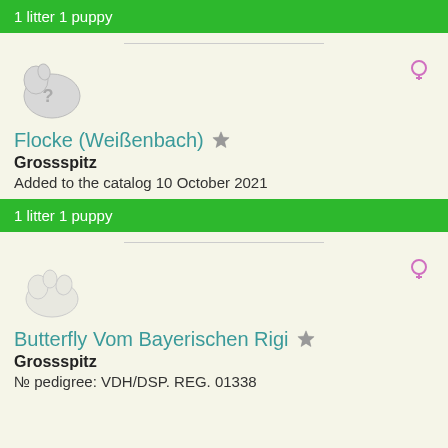1 litter 1 puppy
[Figure (illustration): Gray silhouette of a dog with a question mark, placeholder image]
Flocke (Weißenbach)
Grossspitz
Added to the catalog 10 October 2021
1 litter 1 puppy
[Figure (illustration): White/light silhouette of a dog, placeholder image]
Butterfly Vom Bayerischen Rigi
Grossspitz
№ pedigree: VDH/DSP. REG. 01338